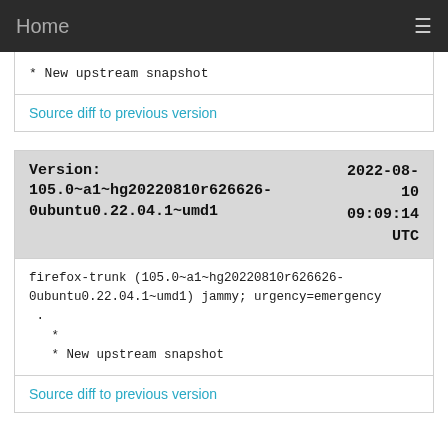Home
* New upstream snapshot
Source diff to previous version
Version: 105.0~a1~hg20220810r626626-0ubuntu0.22.04.1~umd1   2022-08-10 09:09:14 UTC
firefox-trunk (105.0~a1~hg20220810r626626-0ubuntu0.22.04.1~umd1) jammy; urgency=emergency
  .
    *
    * New upstream snapshot
Source diff to previous version